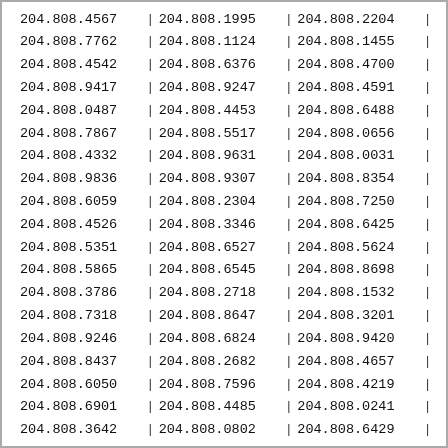| 204.808.4567 | 204.808.1995 | 204.808.2204 |
| 204.808.7762 | 204.808.1124 | 204.808.1455 |
| 204.808.4542 | 204.808.6376 | 204.808.4700 |
| 204.808.9417 | 204.808.9247 | 204.808.4591 |
| 204.808.0487 | 204.808.4453 | 204.808.6488 |
| 204.808.7867 | 204.808.5517 | 204.808.0656 |
| 204.808.4332 | 204.808.9631 | 204.808.0031 |
| 204.808.9836 | 204.808.9307 | 204.808.8354 |
| 204.808.6059 | 204.808.2304 | 204.808.7250 |
| 204.808.4526 | 204.808.3346 | 204.808.6425 |
| 204.808.5351 | 204.808.6527 | 204.808.5624 |
| 204.808.5865 | 204.808.6545 | 204.808.8698 |
| 204.808.3786 | 204.808.2718 | 204.808.1532 |
| 204.808.7318 | 204.808.8647 | 204.808.3201 |
| 204.808.9246 | 204.808.6824 | 204.808.9420 |
| 204.808.8437 | 204.808.2682 | 204.808.4657 |
| 204.808.6050 | 204.808.7596 | 204.808.4219 |
| 204.808.6901 | 204.808.4485 | 204.808.0241 |
| 204.808.3642 | 204.808.0802 | 204.808.6429 |